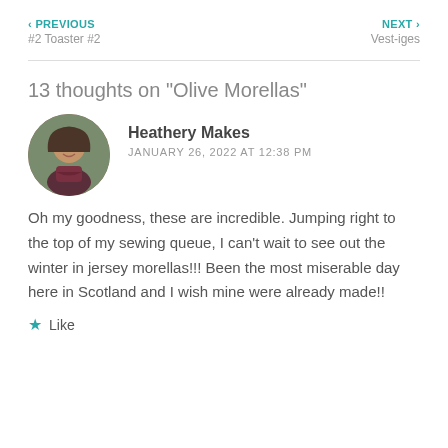‹ PREVIOUS
#2 Toaster #2
NEXT ›
Vest-iges
13 thoughts on “Olive Morellas”
Heathery Makes
JANUARY 26, 2022 AT 12:38 PM
Oh my goodness, these are incredible. Jumping right to the top of my sewing queue, I can’t wait to see out the winter in jersey morellas!!! Been the most miserable day here in Scotland and I wish mine were already made!!
★ Like